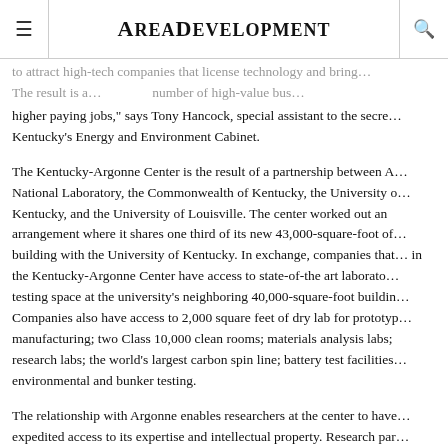AreaDevelopment
to attract high-tech companies that license technology and bring… The result is a… number of high-value bus… higher paying jobs, says Tony Hancock, special assistant to the secre… Kentucky's Energy and Environment Cabinet.
The Kentucky-Argonne Center is the result of a partnership between A… National Laboratory, the Commonwealth of Kentucky, the University o… Kentucky, and the University of Louisville. The center worked out an arrangement where it shares one third of its new 43,000-square-foot of… building with the University of Kentucky. In exchange, companies that… in the Kentucky-Argonne Center have access to state-of-the art laborato… testing space at the university's neighboring 40,000-square-foot buildin… Companies also have access to 2,000 square feet of dry lab for prototyp… manufacturing; two Class 10,000 clean rooms; materials analysis labs; … research labs; the world's largest carbon spin line; battery test facilities… environmental and bunker testing.
The relationship with Argonne enables researchers at the center to have… expedited access to its expertise and intellectual property. Research par… include Ford, Hitachi Automotive U.S., nGimat, Angstron Materials, an… Chemical.
Powering Electric Cars
Consider all of the gadgets that rely on battery power today, and the Ke…